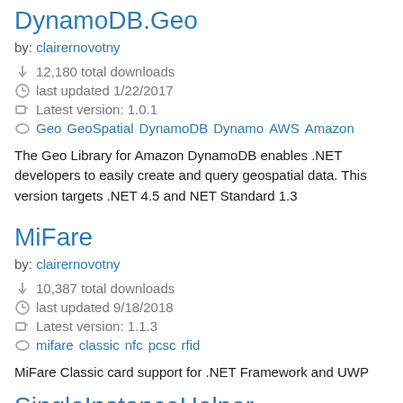DynamoDB.Geo
by: clairernovotny
12,180 total downloads
last updated 1/22/2017
Latest version: 1.0.1
Geo GeoSpatial DynamoDB Dynamo AWS Amazon
The Geo Library for Amazon DynamoDB enables .NET developers to easily create and query geospatial data. This version targets .NET 4.5 and NET Standard 1.3
MiFare
by: clairernovotny
10,387 total downloads
last updated 9/18/2018
Latest version: 1.1.3
mifare classic nfc pcsc rfid
MiFare Classic card support for .NET Framework and UWP
SingleInstanceHelper